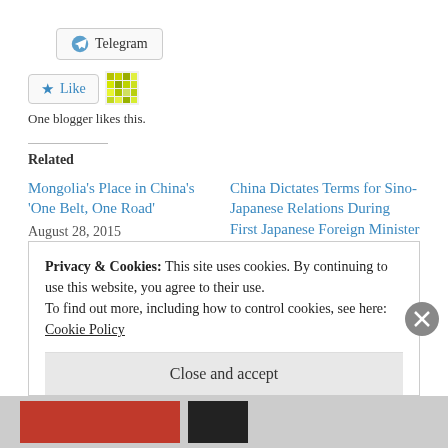[Figure (other): Telegram share button with icon]
[Figure (other): Like button with star icon and avatar grid; text: One blogger likes this.]
Related
Mongolia’s Place in China’s ‘One Belt, One Road’
August 28, 2015
In “Asia”
China Dictates Terms for Sino-Japanese Relations During First Japanese Foreign Minister Visit in Four Years
June 5, 2016
Privacy & Cookies: This site uses cookies. By continuing to use this website, you agree to their use.
To find out more, including how to control cookies, see here: Cookie Policy
Close and accept